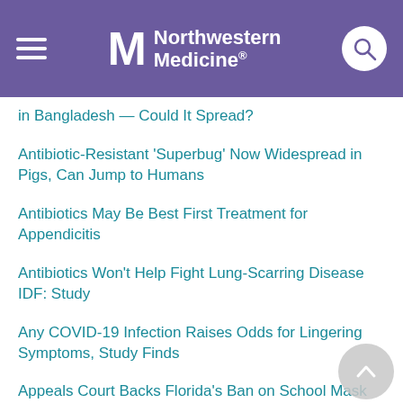Northwestern Medicine
in Bangladesh — Could It Spread?
Antibiotic-Resistant 'Superbug' Now Widespread in Pigs, Can Jump to Humans
Antibiotics May Be Best First Treatment for Appendicitis
Antibiotics Won't Help Fight Lung-Scarring Disease IDF: Study
Any COVID-19 Infection Raises Odds for Lingering Symptoms, Study Finds
Appeals Court Backs Florida's Ban on School Mask Mandates
Are Opioid Painkillers Needed Weeks After Heart Surgery? Maybe Not